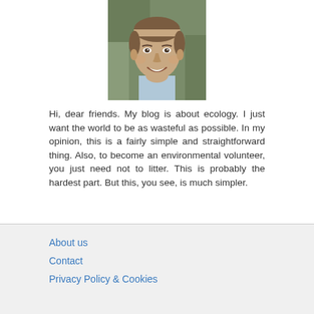[Figure (photo): Headshot of a smiling man with short dark hair, outdoors with a blurred natural background]
Hi, dear friends. My blog is about ecology. I just want the world to be as wasteful as possible. In my opinion, this is a fairly simple and straightforward thing. Also, to become an environmental volunteer, you just need not to litter. This is probably the hardest part. But this, you see, is much simpler.
About us
Contact
Privacy Policy & Cookies